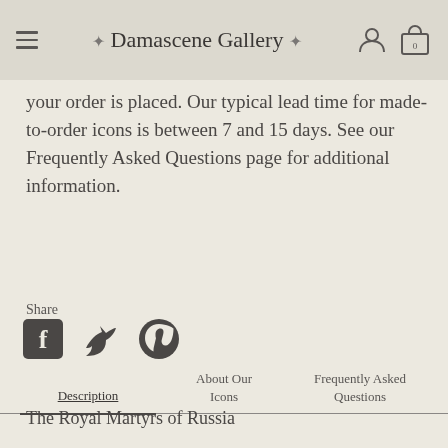Damascene Gallery
your order is placed. Our typical lead time for made-to-order icons is between 7 and 15 days. See our Frequently Asked Questions page for additional information.
Share
[Figure (other): Social media share icons: Facebook, Twitter, Pinterest]
Description | About Our Icons | Frequently Asked Questions
The Royal Martyrs of Russia